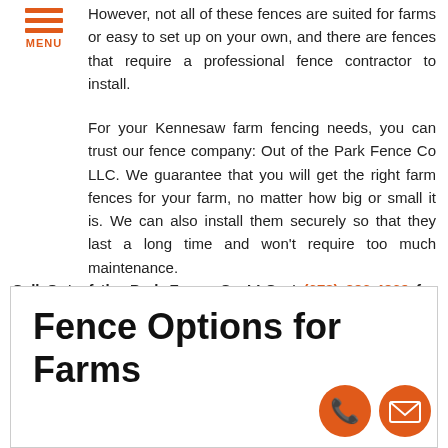MENU
However, not all of these fences are suited for farms or easy to set up on your own, and there are fences that require a professional fence contractor to install.
For your Kennesaw farm fencing needs, you can trust our fence company: Out of the Park Fence Co LLC. We guarantee that you will get the right farm fences for your farm, no matter how big or small it is. We can also install them securely so that they last a long time and won't require too much maintenance.
Call Out of the Park Fence Co LLC at (678) 326-4269 for your Free Consultation with a Kennesaw Farm Fencing specialist!
Fence Options for Farms